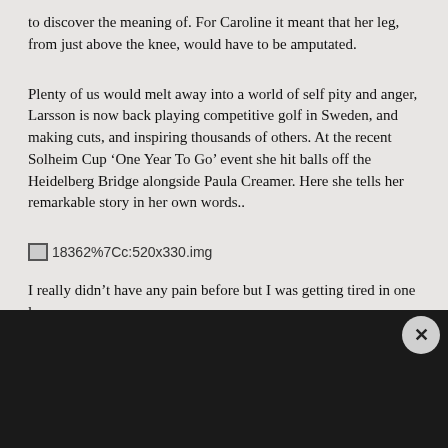to discover the meaning of. For Caroline it meant that her leg, from just above the knee, would have to be amputated.
Plenty of us would melt away into a world of self pity and anger, Larsson is now back playing competitive golf in Sweden, and making cuts, and inspiring thousands of others. At the recent Solheim Cup ‘One Year To Go’ event she hit balls off the Heidelberg Bridge alongside Paula Creamer. Here she tells her remarkable story in her own words..
[Figure (other): Broken image placeholder showing filename: 18362%7Cc:520x330.img]
I really didn’t have any pain before but I was getting tired in one le